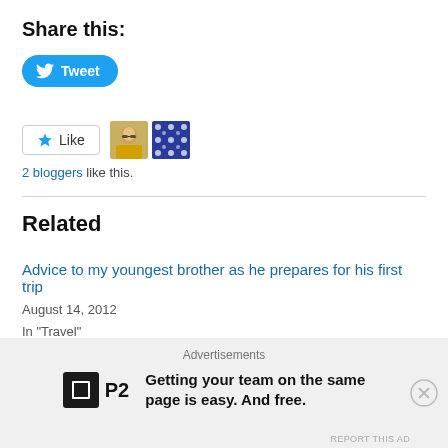Share this:
[Figure (illustration): Twitter Tweet button - blue rounded pill button with Twitter bird icon and 'Tweet' text]
[Figure (illustration): Facebook Like button with star icon showing '2 bloggers like this' with two avatar images]
2 bloggers like this.
Related
Advice to my youngest brother as he prepares for his first trip
August 14, 2012
In "Travel"
Packing light for an active, varied, round-the-world trip
October 26, 2014
In "Travel"
Advertisements
[Figure (illustration): P2 advertisement: black P2 logo box with tagline 'Getting your team on the same page is easy. And free.']